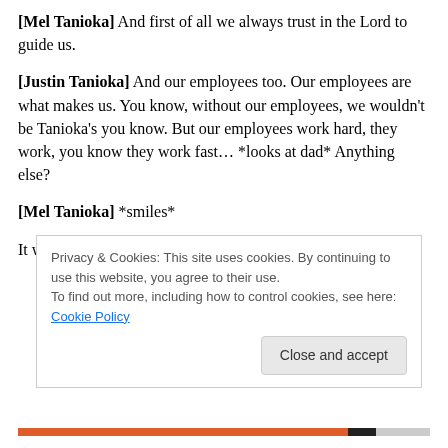[Mel Tanioka] And first of all we always trust in the Lord to guide us.
[Justin Tanioka] And our employees too. Our employees are what makes us. You know, without our employees, we wouldn't be Tanioka's you know. But our employees work hard, they work, you know they work fast… *looks at dad* Anything else?
[Mel Tanioka] *smiles*
It was great to see a truly genuine family doing good here
Privacy & Cookies: This site uses cookies. By continuing to use this website, you agree to their use.
To find out more, including how to control cookies, see here: Cookie Policy
Close and accept